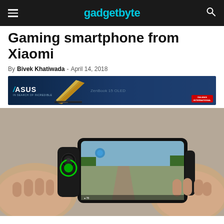gadgetbyte
Gaming smartphone from Xiaomi
By Bivek Khatiwada - April 14, 2018
[Figure (photo): ASUS ZenBook 15 advertisement banner with laptop image]
[Figure (photo): Hands holding a gaming smartphone (Black Shark) with joystick attachment, displaying a PUBG mobile game screen]